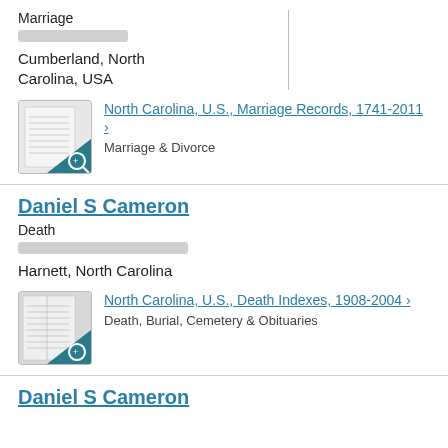Marriage
[redacted]
Cumberland, North Carolina, USA
[Figure (other): Thumbnail image of a historical marriage record document with teal/blue corner overlay and magnifying glass icon]
North Carolina, U.S., Marriage Records, 1741-2011 ›
Marriage & Divorce
Daniel S Cameron
Death
[redacted]
Harnett, North Carolina
[Figure (other): Thumbnail image of a historical death index document with teal/blue corner overlay and magnifying glass icon]
North Carolina, U.S., Death Indexes, 1908-2004 ›
Death, Burial, Cemetery & Obituaries
Daniel S Cameron